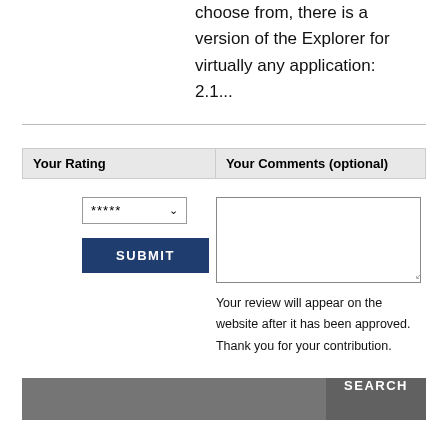choose from, there is a version of the Explorer for virtually any application: 2.1...
| Your Rating | Your Comments (optional) |
| --- | --- |
[Figure (screenshot): A star rating dropdown showing five asterisks and a chevron down arrow, with a SUBMIT button below it in dark navy blue, and a comments textarea to the right.]
Your review will appear on the website after it has been approved. Thank you for your contribution.
[Figure (screenshot): A search bar with a dark grey input field and a SEARCH button on the right.]